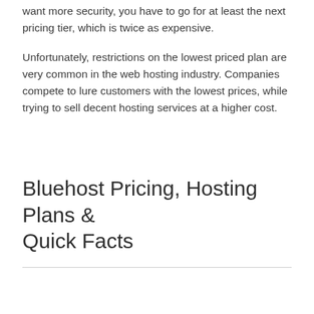want more security, you have to go for at least the next pricing tier, which is twice as expensive.
Unfortunately, restrictions on the lowest priced plan are very common in the web hosting industry. Companies compete to lure customers with the lowest prices, while trying to sell decent hosting services at a higher cost.
Bluehost Pricing, Hosting Plans & Quick Facts